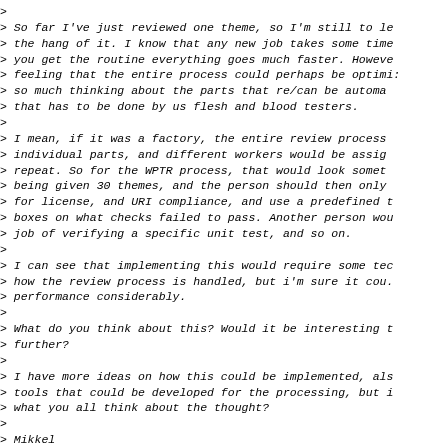> So far I've just reviewed one theme, so I'm still to le
> the hang of it. I know that any new job takes some time
> you get the routine everything goes much faster. Howeve
> feeling that the entire process could perhaps be optimi:
> so much thinking about the parts that re/can be automa
> that has to be done by us flesh and blood testers.
>
> I mean, if it was a factory, the entire review process
> individual parts, and different workers would be assig
> repeat. So for the WPTR process, that would look somet
> being given 30 themes, and the person should then only
> for license, and URI compliance, and use a predefined t
> boxes on what checks failed to pass. Another person wou
> job of verifying a specific unit test, and so on.
>
> I can see that implementing this would require some tec
> how the review process is handled, but i'm sure it cou.
> performance considerably.
>
> What do you think about this? Would it be interesting t
> further?
>
> I have more ideas on how this could be implemented, als
> tools that could be developed for the processing, but i
> what you all think about the thought?
>
> Mikkel
>
>
>